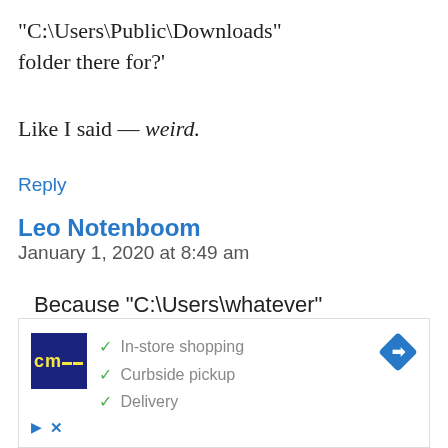“C:\Users\Public\Downloads” folder there for?’
Like I said — weird.
Reply
Leo Notenboom
January 1, 2020 at 8:49 am
Because “C:\Users\whatever” aside, MOST PCs are single-user machines. I do the similar — my
[Figure (other): Advertisement box with 'cm' logo, checkmarks for In-store shopping, Curbside pickup, Delivery, and a blue diamond navigation arrow icon]